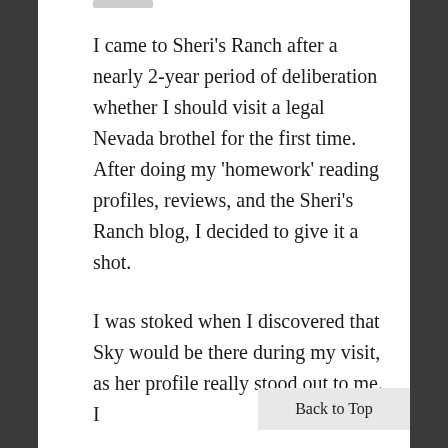I came to Sheri's Ranch after a nearly 2-year period of deliberation whether I should visit a legal Nevada brothel for the first time. After doing my 'homework' reading profiles, reviews, and the Sheri's Ranch blog, I decided to give it a shot.
I was stoked when I discovered that Sky would be there during my visit, as her profile really stood out to me. I
Back to Top